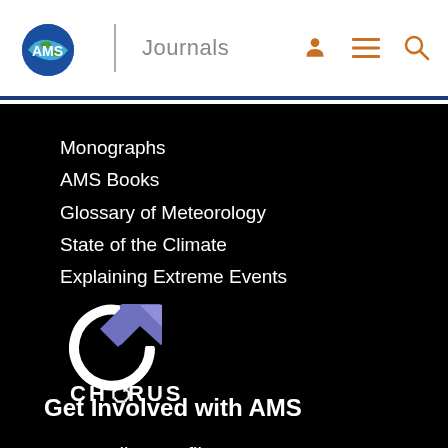AMS Journals
Monographs
AMS Books
Glossary of Meteorology
State of the Climate
Explaining Extreme Events
[Figure (logo): CHORUS logo — circular arrow icon with blue/purple accent and text 'CHORUS' below]
Get Involved with AMS
AMS Online Profile
Publish
Benefits of Publishing with AMS